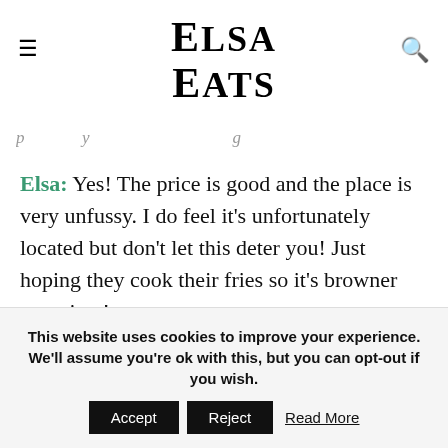Elsa Eats
p… y… g…
Elsa: Yes! The price is good and the place is very unfussy. I do feel it's unfortunately located but don't let this deter you! Just hoping they cook their fries so it's browner next time!
This website uses cookies to improve your experience. We'll assume you're ok with this, but you can opt-out if you wish. Accept Reject Read More